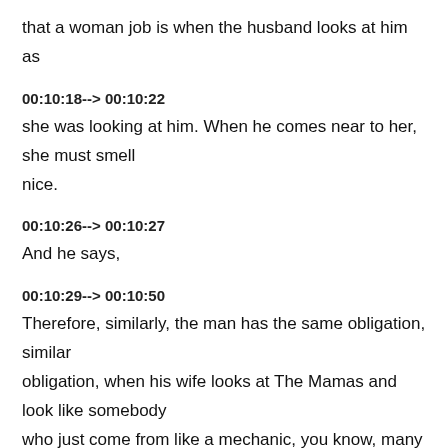that a woman job is when the husband looks at him as
00:10:18--> 00:10:22
she was looking at him. When he comes near to her, she must smell nice.
00:10:26--> 00:10:27
And he says,
00:10:29--> 00:10:50
Therefore, similarly, the man has the same obligation, similar obligation, when his wife looks at The Mamas and look like somebody who just come from like a mechanic, you know, many women, America mechanics, the how many women are married to people who work on the building? And they look like that seven days a week. And